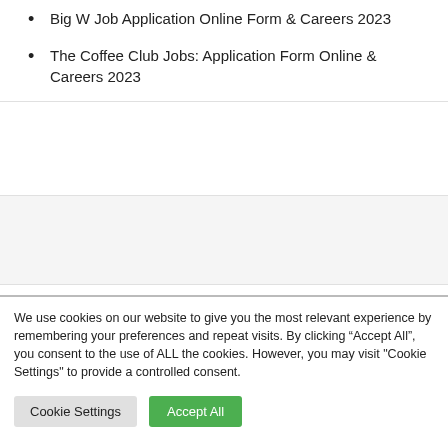Big W Job Application Online Form & Careers 2023
The Coffee Club Jobs: Application Form Online & Careers 2023
We use cookies on our website to give you the most relevant experience by remembering your preferences and repeat visits. By clicking “Accept All”, you consent to the use of ALL the cookies. However, you may visit "Cookie Settings" to provide a controlled consent.